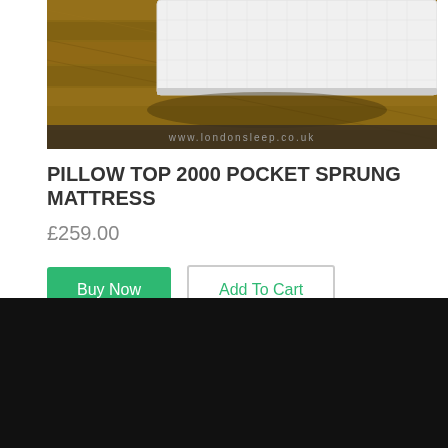[Figure (photo): Partial view of a white pillow-top pocket sprung mattress on a wooden floor, with website watermark www.londonsleep.co.uk at the bottom]
PILLOW TOP 2000 POCKET SPRUNG MATTRESS
£259.00
Buy Now
Add To Cart